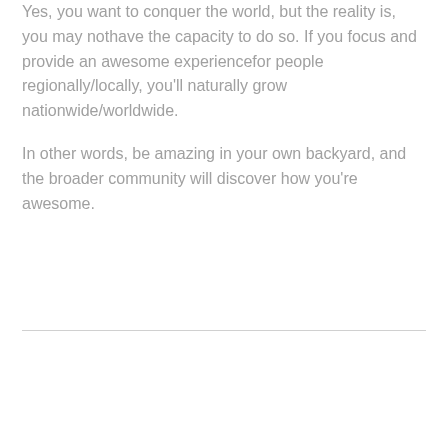Yes, you want to conquer the world, but the reality is, you may nothave the capacity to do so. If you focus and provide an awesome experiencefor people regionally/locally, you'll naturally grow nationwide/worldwide.
In other words, be amazing in your own backyard, and the broader community will discover how you're awesome.